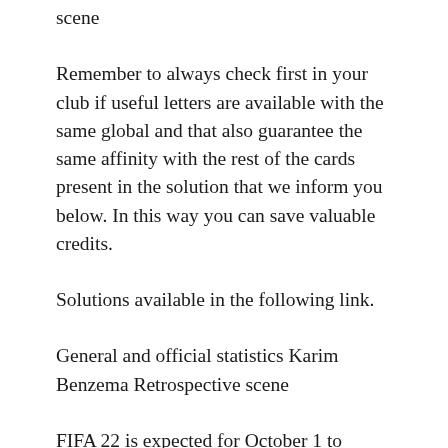scene
Remember to always check first in your club if useful letters are available with the same global and that also guarantee the same affinity with the rest of the cards present in the solution that we inform you below. In this way you can save valuable credits.
Solutions available in the following link.
General and official statistics Karim Benzema Retrospective scene
FIFA 22 is expected for October 1 to PlayStation 5, Xbox X-Series, PlayStation 4, Xbox One, PC, Steam